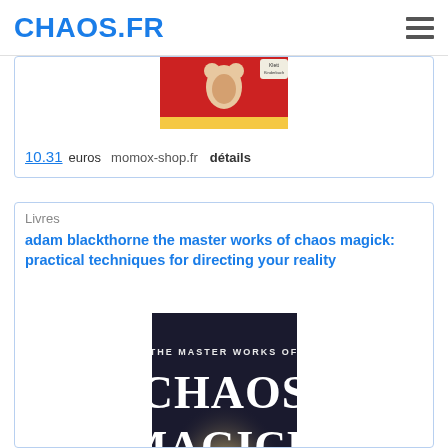CHAOS.FR
[Figure (photo): Partial book cover image (top portion visible) showing a children's book with a mouse character on red background, Klett Kinderbuch publisher]
10.31 euros   momox-shop.fr   détails
Livres
adam blackthorne the master works of chaos magick: practical techniques for directing your reality
[Figure (photo): Book cover of 'The Master Works of Chaos Magick' showing large white text on dark background with a silhouetted figure in bright light]